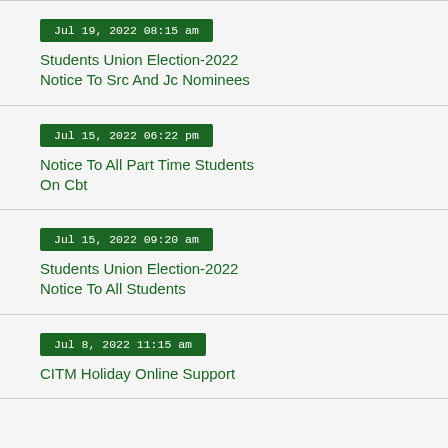Jul 19, 2022 08:15 am | Students Union Election-2022 Notice To Src And Jc Nominees
Jul 15, 2022 06:22 pm | Notice To All Part Time Students On Cbt
Jul 15, 2022 09:20 am | Students Union Election-2022 Notice To All Students
Jul 8, 2022 11:15 am | CITM Holiday Online Support